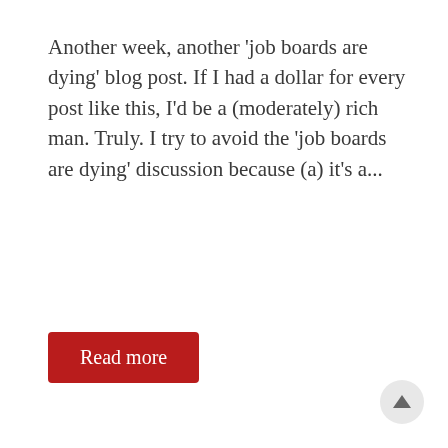Another week, another 'job boards are dying' blog post. If I had a dollar for every post like this, I'd be a (moderately) rich man. Truly. I try to avoid the 'job boards are dying' discussion because (a) it's a...
Read more